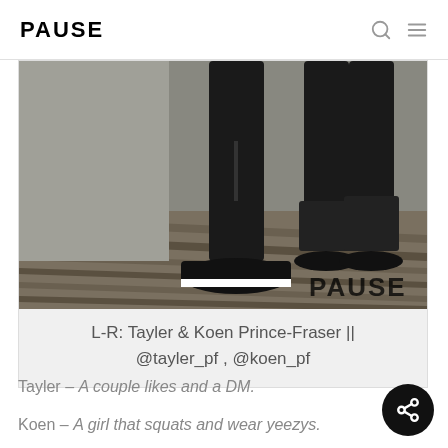PAUSE
[Figure (photo): Cropped photo showing lower bodies of two people wearing all-black outfits and sneakers, standing on wooden decking. PAUSE watermark in bottom right corner.]
L-R: Tayler & Koen Prince-Fraser || @tayler_pf , @koen_pf
Tayler – A couple likes and a DM.
Koen – A girl that squats and wear yeezys.